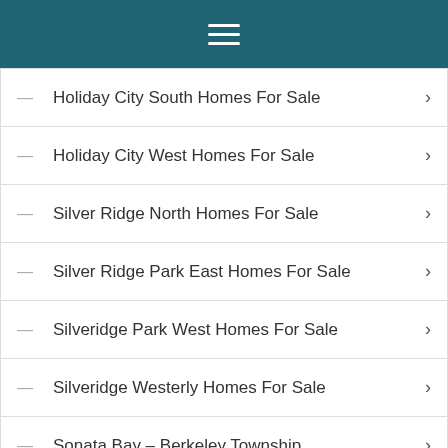Navigation menu header bar
Holiday City South Homes For Sale
Holiday City West Homes For Sale
Silver Ridge North Homes For Sale
Silver Ridge Park East Homes For Sale
Silveridge Park West Homes For Sale
Silveridge Westerly Homes For Sale
Sonata Bay – Berkeley Township
BRICK
Cedar Village, Brick